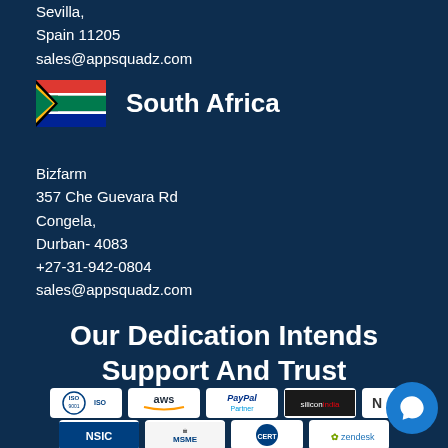Sevilla,
Spain 11205
sales@appsquadz.com
[Figure (illustration): South Africa flag emoji]
South Africa
Bizfarm
357 Che Guevara Rd
Congela,
Durban- 4083
+27-31-942-0804
sales@appsquadz.com
Our Dedication Intends Support And Trust
[Figure (logo): Row of partner/certification logos: ISO, aws, PayPal Partner, siliconindia, N (partially visible), NSIC, MSME, certification logo, zendesk]